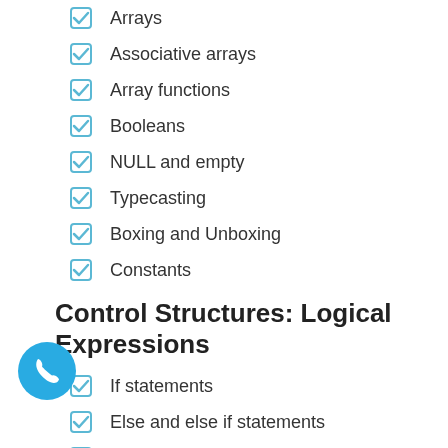Arrays
Associative arrays
Array functions
Booleans
NULL and empty
Typecasting
Boxing and Unboxing
Constants
Control Structures: Logical Expressions
If statements
Else and else if statements
Nested If statements
Nested else If statements
Logical operators